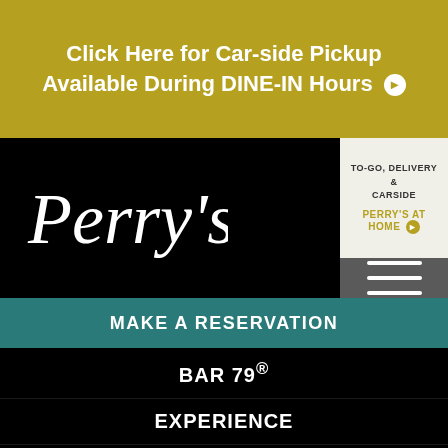Click Here for Car-side Pickup Available During DINE-IN Hours ▶
[Figure (logo): Perry's script logo in white on black background]
TO-GO, DELIVERY & CARSIDE PERRY'S AT HOME ▶
[Figure (other): Hamburger menu icon (three white lines) on gray background]
MAKE A RESERVATION
BAR 79®
EXPERIENCE
NEWS & AWARDS
STEAKHOUSE ONLINE
GROUP DINING
GIFT CARDS